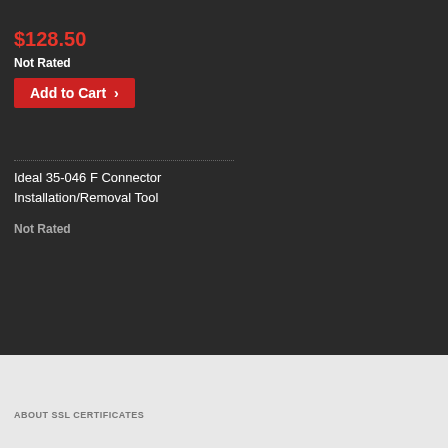$128.50
Not Rated
Add to Cart >
Ideal 35-046 F Connector Installation/Removal Tool
Not Rated
ABOUT SSL CERTIFICATES
[Figure (photo): Jensen Tools V18J M wrench set in blue pouch, 8pc open-end wrenches]
Jensen Tools V18J M 8pc.
Open-end precision ease of use. Inch Set and 3/8∠.  Length: 3-
Compare
[Figure (photo): Jensen Tools VM50JT Metric 8pc open-end wrench set in blue pouch]
Jensen Tools VM50JT Metric, 8pc.
Open-end precision ease of use. Metric S (8) Wrenches, (1) Vin
Compare
Stanley FMHT56010
Image Coming Soon
Compare